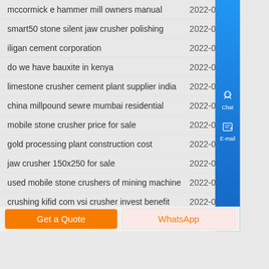mccormick e hammer mill owners manual  2022-04-02
smart50 stone silent jaw crusher polishing  2022-04-01
iligan cement corporation  2022-03-31
do we have bauxite in kenya  2022-03-30
limestone crusher cement plant supplier india  2022-03-29
china millpound sewre mumbai residential  2022-03-28
mobile stone crusher price for sale  2022-03-27
gold processing plant construction cost  2022-03-26
jaw crusher 150x250 for sale  2022-03-25
used mobile stone crushers of mining machine  2022-03-24
crushing kifid com vsi crusher invest benefit  2022-03-23